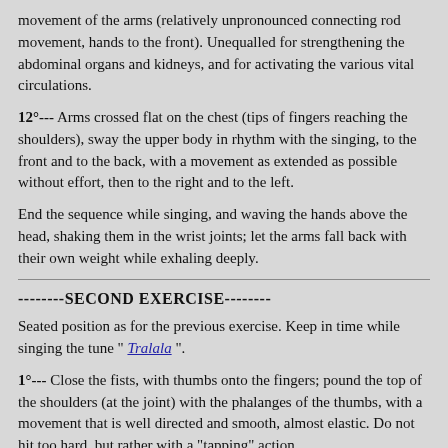movement of the arms (relatively unpronounced connecting rod movement, hands to the front). Unequalled for strengthening the abdominal organs and kidneys, and for activating the various vital circulations.
12°--- Arms crossed flat on the chest (tips of fingers reaching the shoulders), sway the upper body in rhythm with the singing, to the front and to the back, with a movement as extended as possible without effort, then to the right and to the left.
End the sequence while singing, and waving the hands above the head, shaking them in the wrist joints; let the arms fall back with their own weight while exhaling deeply.
--------SECOND EXERCISE--------
Seated position as for the previous exercise. Keep in time while singing the tune " Tralala ".
1°--- Close the fists, with thumbs onto the fingers; pound the top of the shoulders (at the joint) with the phalanges of the thumbs, with a movement that is well directed and smooth, almost elastic. Do not hit too hard, but rather with a "tapping" action.